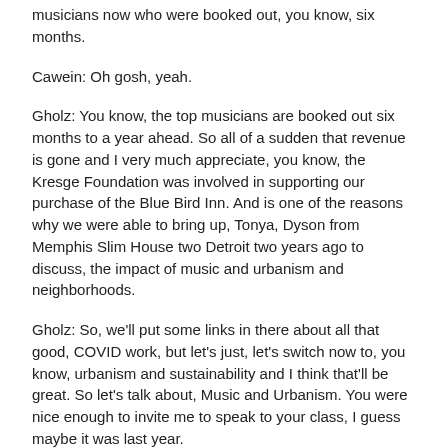musicians now who were booked out, you know, six months.
Cawein: Oh gosh, yeah.
Gholz: You know, the top musicians are booked out six months to a year ahead. So all of a sudden that revenue is gone and I very much appreciate, you know, the Kresge Foundation was involved in supporting our purchase of the Blue Bird Inn. And is one of the reasons why we were able to bring up, Tonya, Dyson from Memphis Slim House two Detroit two years ago to discuss, the impact of music and urbanism and neighborhoods.
Gholz: So, we'll put some links in there about all that good, COVID work, but let's just, let's switch now to, you know, urbanism and sustainability and I think that'll be great. So let's talk about, Music and Urbanism. You were nice enough to invite me to speak to your class, I guess maybe it was last year.
Cawein: Yeah!